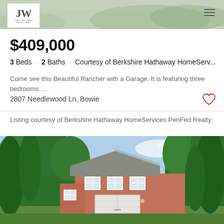John Williams Sales Team logo and navigation
$409,000
3 Beds · 2 Baths · Courtesy of Berkshire Hathaway HomeServ...
Come see this Beautiful Rancher with a Garage. It is featuring three bedrooms ...
2807 Needlewood Ln, Bowie
Listing courtesy of Berkshire Hathaway HomeServices PenFed Realty.
[Figure (photo): Exterior photo of a two-story brick house with white garage door, surrounded by large green trees under a partly cloudy sky.]